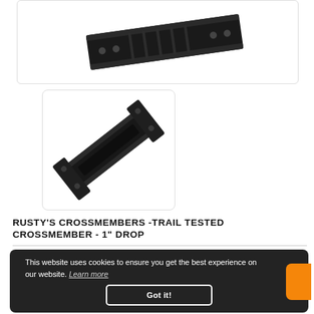[Figure (photo): Partial view of a black metal bracket or crossmember part, cropped at top]
[Figure (photo): Black metal crossmember part shown diagonally on white background]
RUSTY'S CROSSMEMBERS - TRAIL TESTED CROSSMEMBER - 1" DROP
This website uses cookies to ensure you get the best experience on our website. Learn more
Got it!